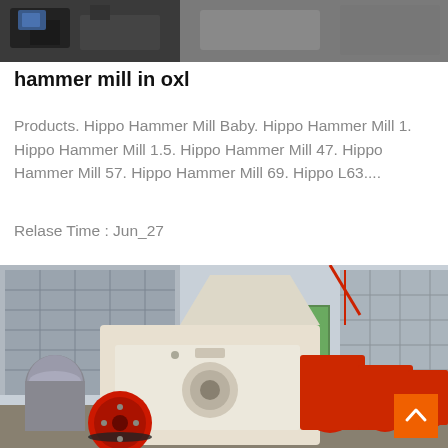[Figure (photo): Partial view of industrial machinery, appears to be metal equipment on a work surface, dark/grey tones, cropped at top.]
hammer mill in oxl
Products. Hippo Hammer Mill Baby. Hippo Hammer Mill 1. Hippo Hammer Mill 1.5. Hippo Hammer Mill 47. Hippo Hammer Mill 57. Hippo Hammer Mill 69. Hippo L63....
Relase Time : Jun_27
[Figure (photo): Industrial hammer mills and crushing machinery in a factory yard. One large white and red hammer mill in the foreground with a red flywheel, and several red hammer mills in the background. Factory buildings visible behind.]